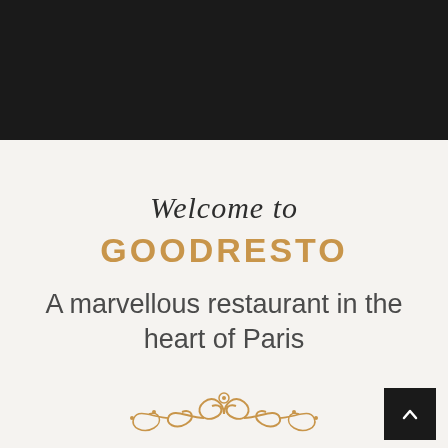[Figure (photo): Dark/black header image area at the top of the page]
Welcome to GOODRESTO
A marvellous restaurant in the heart of Paris
[Figure (illustration): Gold ornamental decorative flourish at the bottom center]
[Figure (other): Black scroll-to-top button with upward chevron arrow in bottom right]